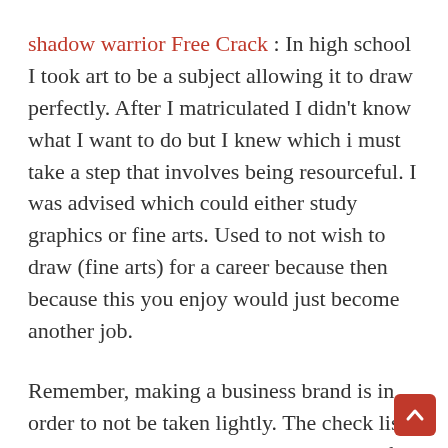shadow warrior Free Crack : In high school I took art to be a subject allowing it to draw perfectly. After I matriculated I didn't know what I want to do but I knew which i must take a step that involves being resourceful. I was advised which could either study graphics or fine arts. Used to not wish to draw (fine arts) for a career because then because this you enjoy would just become another job.
Remember, making a business brand is in order to not be taken lightly. The check list should be wiped out through and check if the progres of the existing business logo is a must. Once you have ascertained that the change is often a must